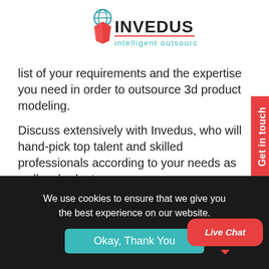[Figure (logo): Invedus Intelligent Outsourcing logo with globe and book icon]
list of your requirements and the expertise you need in order to outsource 3d product modeling.
Discuss extensively with Invedus, who will hand-pick top talent and skilled professionals according to your needs as well as budget.
You will have access to the best of the best and a great portfolio, screened by recruitment professionals specialized in picking the best for you.
We use cookies to ensure that we give you the best experience on our website.